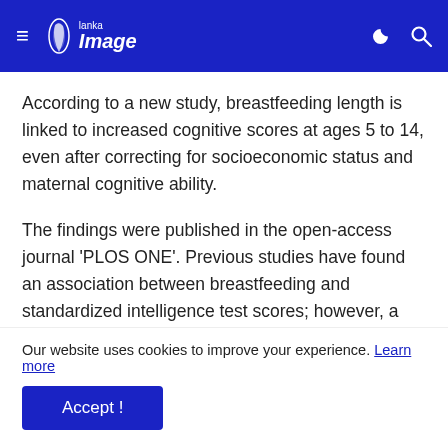Lanka Image
According to a new study, breastfeeding length is linked to increased cognitive scores at ages 5 to 14, even after correcting for socioeconomic status and maternal cognitive ability.
The findings were published in the open-access journal 'PLOS ONE'. Previous studies have found an association between breastfeeding and standardized intelligence test scores; however, a causal relationship is still debated. Improved cognitive outcomes could potentially be explained by other characteristics–such as
Our website uses cookies to improve your experience. Learn more